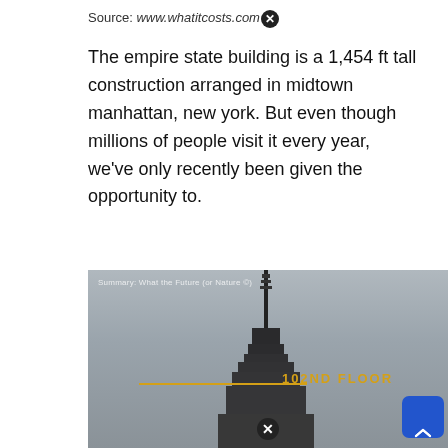Source: www.whatitcosts.com
The empire state building is a 1,454 ft tall construction arranged in midtown manhattan, new york. But even though millions of people visit it every year, we've only recently been given the opportunity to.
[Figure (photo): Photo of the Empire State Building spire and antenna against a grey sky, with a horizontal orange line and label '102ND FLOOR' pointing to the 102nd floor level. A small watermark reads 'Summary: What the Future (or Nature ©)'. There is a blue scroll-up button overlay at bottom right.]